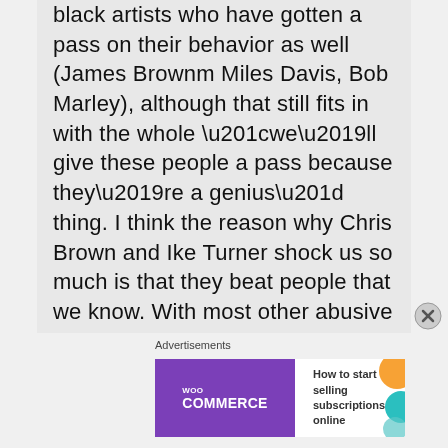black artists who have gotten a pass on their behavior as well (James Brownm Miles Davis, Bob Marley), although that still fits in with the whole “we’ll give these people a pass because they’re a genius” thing. I think the reason why Chris Brown and Ike Turner shock us so much is that they beat people that we know. With most other abusive celebrities, you can
Advertisements
[Figure (other): WooCommerce advertisement banner: purple left side with WooCommerce logo and teal arrow, white right side with text 'How to start selling subscriptions online' and decorative colored shapes in corner.]